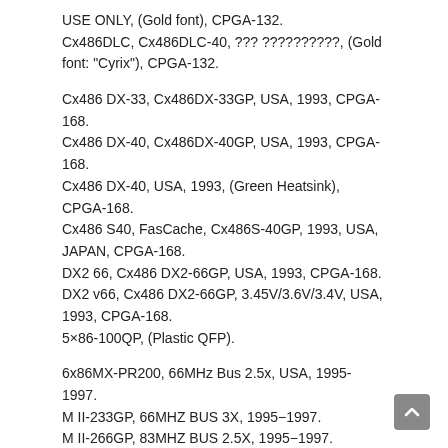USE ONLY, (Gold font), CPGA-132.
Cx486DLC, Cx486DLC-40, ??? ??????????, (Gold font: "Cyrix"), CPGA-132.
Cx486 DX-33, Cx486DX-33GP, USA, 1993, CPGA-168.
Cx486 DX-40, Cx486DX-40GP, USA, 1993, CPGA-168.
Cx486 DX-40, USA, 1993, (Green Heatsink), CPGA-168.
Cx486 S40, FasCache, Cx486S-40GP, 1993, USA, JAPAN, CPGA-168.
DX2 66, Cx486 DX2-66GP, USA, 1993, CPGA-168.
DX2 v66, Cx486 DX2-66GP, 3.45V/3.6V/3.4V, USA, 1993, CPGA-168.
5×86-100QP, (Plastic QFP).
6x86MX-PR200, 66MHz Bus 2.5x, USA, 1995-1997.
M II-233GP, 66MHZ BUS 3X, 1995−1997.
M II-266GP, 83MHZ BUS 2.5X, 1995−1997.
M IIv-300GP, 75MHZ BUS 3X, 1995−1998.
M II-300GP, 66MHZ BUS 3.5X, 1995−1998.
M II-300GP, 66MHZ BUS 3.5X, 1995−1997, (small logo).